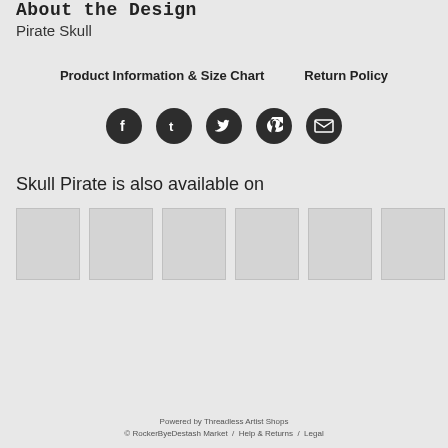About the Design
Pirate Skull
Product Information & Size Chart   Return Policy
[Figure (infographic): Row of 5 social media icon buttons (Facebook, Tumblr, Twitter, Pinterest, Email) as dark circles with white icons]
Skull Pirate is also available on
[Figure (infographic): Row of 6 product thumbnail placeholder boxes (grey rectangles)]
Powered by Threadless Artist Shops
© RockerByeDestash Market / Help & Returns / Legal